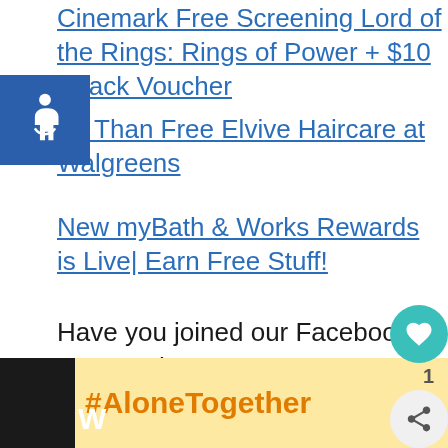Cinemark Free Screening Lord of the Rings: Rings of Power + $10 Snack Voucher
Better Than Free Elvive Haircare at Walgreens
New myBath & Works Rewards is Live| Earn Free Stuff!
Have you joined our Facebook yet? We have over 18,000 members who share deals, recipes and lifestyle tips with each other. Click here to join and start saving with us today.
[Figure (screenshot): Accessibility icon (wheelchair) in blue square in upper left corner]
[Figure (screenshot): Heart/like button (teal circle with heart), share button, and counter showing 1]
[Figure (screenshot): Advertisement banner showing #AloneTogether hashtag in orange on yellow background with a photo of a woman cooking, on black bar]